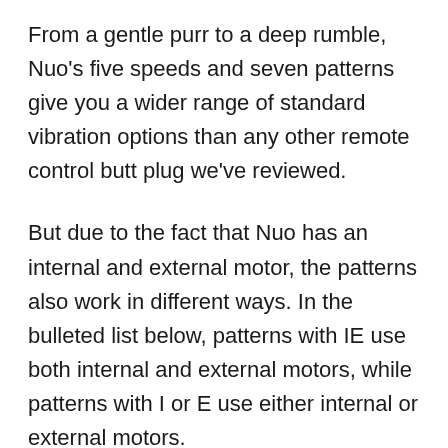From a gentle purr to a deep rumble, Nuo's five speeds and seven patterns give you a wider range of standard vibration options than any other remote control butt plug we've reviewed.
But due to the fact that Nuo has an internal and external motor, the patterns also work in different ways. In the bulleted list below, patterns with IE use both internal and external motors, while patterns with I or E use either internal or external motors.
Speeds: creatively named 1, 2, 3, 4 and 5!
Patterns: rhythm (IE), purr (E), intense (I),